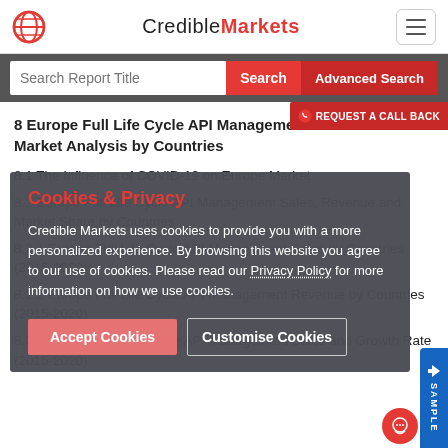CredibleMarkets
8 Europe Full Life Cycle API Management Market Analysis by Countries
8.1 The Influence of COVID-19 on Europe Market
8.2 Europe Full Life Cycle API Management Sales, Revenue and Market Share by Countries
8.2.1 Europe Full Life Cycle API Management Sales by Countries (2015-2020)
8.2.2 Europe Full Life Cycle API Management Revenue by Countries (2015-2020)
8.3 Germany Full Life Cycle API Management Sales and Growth Rate (2015-2020)
Cookies & Privacy

Credible Markets uses cookies to provide you with a more personalized experience. By browsing this website you agree to our use of cookies. Please read our Privacy Policy for more information on how we use cookies.